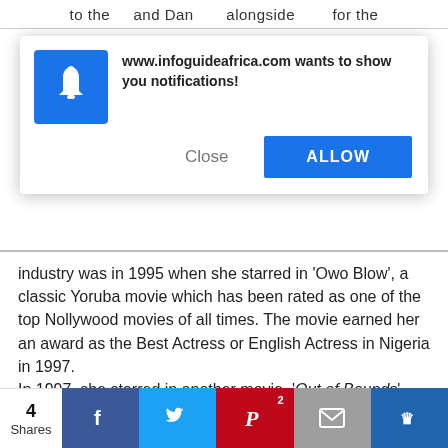to the … and Dan … alongside … for the …
[Figure (screenshot): Browser notification permission popup from www.infoguideafrica.com with a blue bell icon, Close button, and ALLOW button]
industry was in 1995 when she starred in 'Owo Blow', a classic Yoruba movie which has been rated as one of the top Nollywood movies of all times. The movie earned her an award as the Best Actress or English Actress in Nigeria in 1997.
In 1997, she starred in another movie, 'Out of Bounds' alongside Richard Mofe Damijo
Bimbo Akintola Movies
[Figure (screenshot): Social share bar with 4 Shares count, Facebook, Twitter, Pinterest (2), Email, and Kinja share buttons]